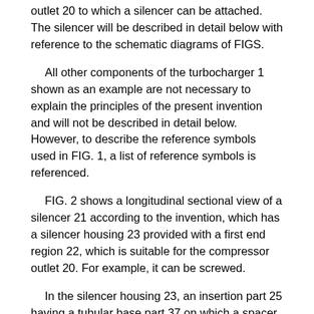outlet 20 to which a silencer can be attached. The silencer will be described in detail below with reference to the schematic diagrams of FIGS.
All other components of the turbocharger 1 shown as an example are not necessary to explain the principles of the present invention and will not be described in detail below. However, to describe the reference symbols used in FIG. 1, a list of reference symbols is referenced.
FIG. 2 shows a longitudinal sectional view of a silencer 21 according to the invention, which has a silencer housing 23 provided with a first end region 22, which is suitable for the compressor outlet 20. For example, it can be screwed.
In the silencer housing 23, an insertion part 25 having a tubular base part 37 on which a spacer 38 is provided is arranged. The insert 25 is in the form of a disk to form the buffer chamber 24 in the embodiment. The insertion portion 25 may be fixed to the silencer housing 23 by an appropriate holding device 39 with the seal ring 40 interposed. The base 37 is provided with at least one opening, but generally two or three openings 26, through which the air guide duct 27 disposed in the base 37 is